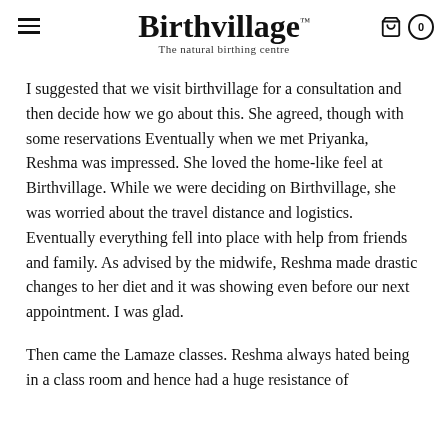Birthvillage™ — The natural birthing centre
I suggested that we visit birthvillage for a consultation and then decide how we go about this. She agreed, though with some reservations Eventually when we met Priyanka, Reshma was impressed. She loved the home-like feel at Birthvillage. While we were deciding on Birthvillage, she was worried about the travel distance and logistics. Eventually everything fell into place with help from friends and family. As advised by the midwife, Reshma made drastic changes to her diet and it was showing even before our next appointment. I was glad.
Then came the Lamaze classes. Reshma always hated being in a class room and hence had a huge resistance of